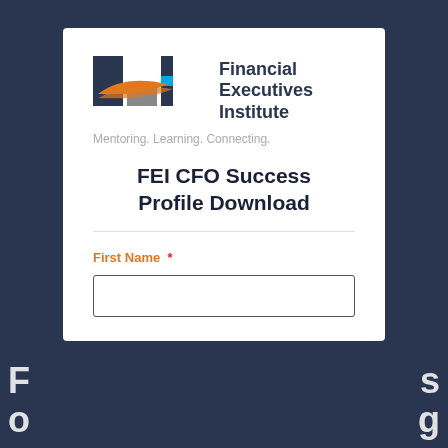[Figure (logo): FEI (Financial Executives Institute) logo with orange swoosh/wing graphic and dark navy letter blocks for F, E, I, with cyan accent on I bar]
Financial Executives Institute
Mentoring. Learning. Connecting.
FEI CFO Success Profile Download
First Name *